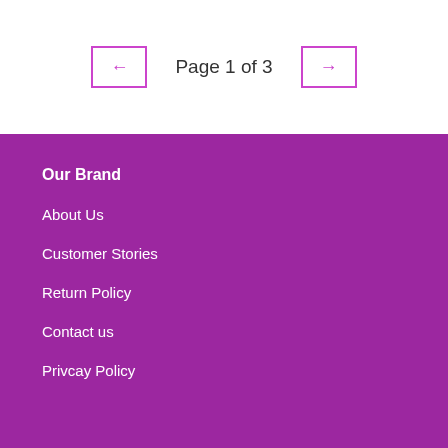Page 1 of 3
Our Brand
About Us
Customer Stories
Return Policy
Contact us
Privcay Policy